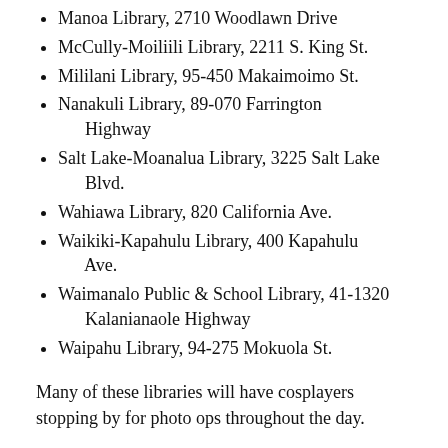Manoa Library, 2710 Woodlawn Drive
McCully-Moiliili Library, 2211 S. King St.
Mililani Library, 95-450 Makaimoimo St.
Nanakuli Library, 89-070 Farrington Highway
Salt Lake-Moanalua Library, 3225 Salt Lake Blvd.
Wahiawa Library, 820 California Ave.
Waikiki-Kapahulu Library, 400 Kapahulu Ave.
Waimanalo Public & School Library, 41-1320 Kalanianaole Highway
Waipahu Library, 94-275 Mokuola St.
Many of these libraries will have cosplayers stopping by for photo ops throughout the day.